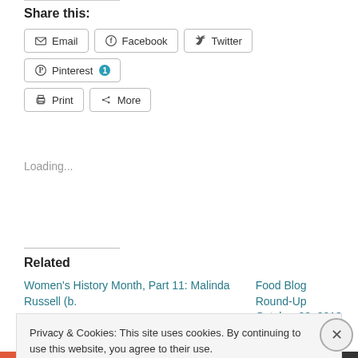Share this:
Email
Facebook
Twitter
Pinterest 1
Print
More
Loading...
Related
Women's History Month, Part 11: Malinda Russell (b.
Food Blog Round-Up October 23, 2013
Privacy & Cookies: This site uses cookies. By continuing to use this website, you agree to their use.
To find out more, including how to control cookies, see here: Cookie Policy
Close and accept